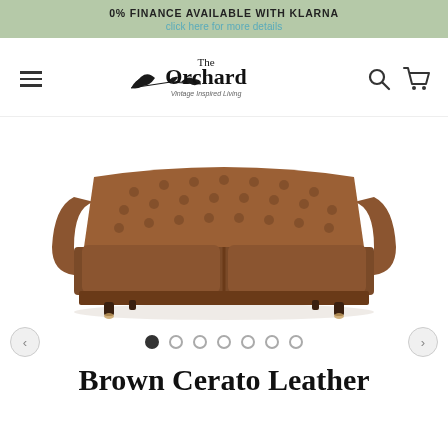0% FINANCE AVAILABLE WITH KLARNA
click here for more details
[Figure (logo): The Orchard Vintage Inspired Living logo with bird and branch decoration, navigation bar with hamburger menu, search icon, and cart icon]
[Figure (photo): Brown leather Chesterfield sofa with tufted back, rolled arms, two seat cushions, and dark wooden legs with brass casters on white background]
[Figure (other): Image carousel navigation with previous arrow, 7 dots (first dot filled/active), and next arrow]
Brown Cerato Leather